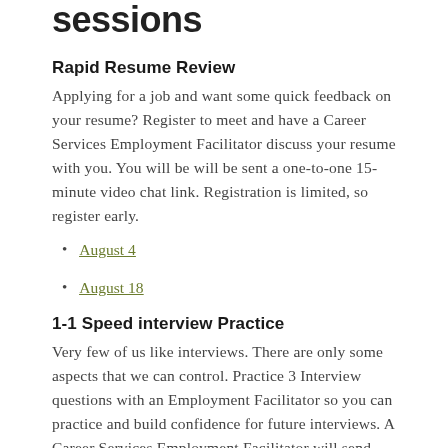sessions
Rapid Resume Review
Applying for a job and want some quick feedback on your resume? Register to meet and have a Career Services Employment Facilitator discuss your resume with you. You will be will be sent a one-to-one 15-minute video chat link. Registration is limited, so register early.
August 4
August 18
1-1 Speed interview Practice
Very few of us like interviews. There are only some aspects that we can control. Practice 3 Interview questions with an Employment Facilitator so you can practice and build confidence for future interviews. A Career Services Employment Facilitator will send